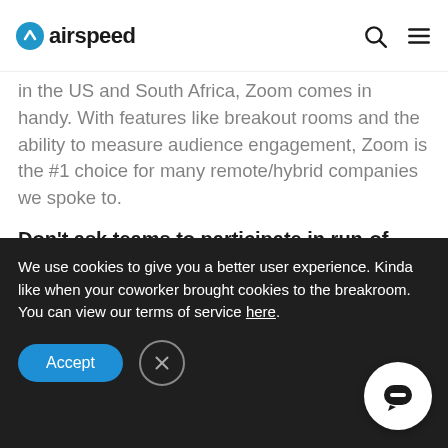airspeed
in the US and South Africa, Zoom comes in handy. With features like breakout rooms and the ability to measure audience engagement, Zoom is the #1 choice for many remote/hybrid companies we spoke to.
Don't ask teams to participate in run-of-the-mill activities
In 2020, Gong organized creative virtual happy hours, group cooking classes, and award ceremonies. Digital Dundies, anyone?
We use cookies to give you a better user experience. Kinda like when your coworker brought cookies to the breakroom. You can view our terms of service here.